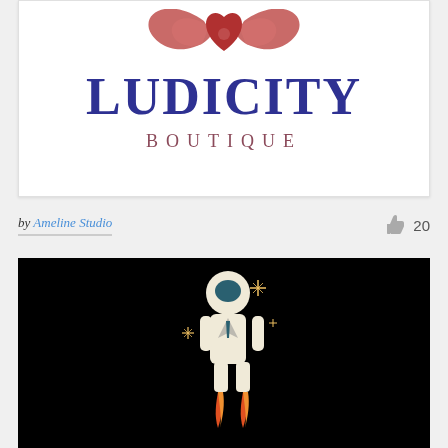[Figure (logo): Ludicity Boutique logo: decorative red/maroon wing-like emblem at top, large blue gothic/serif text 'LUDICITY', and beneath it spaced serif text 'BOUTIQUE' in dark rose/mauve color, on white background]
by Ameline Studio
20
[Figure (illustration): Black background with a flat-style illustration of an astronaut in a white suit with a teal/dark visor, wearing what appears to be a business suit jacket. Small golden sparkle/star shapes surround the figure. Below the astronaut are orange/red rocket flame jets. The overall style is minimalist and geometric.]